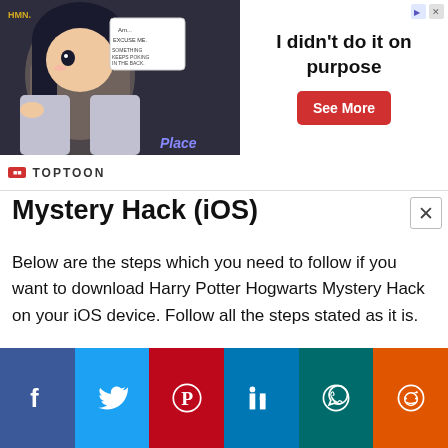[Figure (screenshot): Advertisement banner for Toptoon manga: image of anime character on left, text 'I didn't do it on purpose' in center, red 'See More' button on right]
TOPTOON
Mystery Hack (iOS)
Below are the steps which you need to follow if you want to download Harry Potter Hogwarts Mystery Hack on your iOS device. Follow all the steps stated as it is.
This website uses cookies to improve your experience.
Accept
[Figure (infographic): Social media sharing bar with Facebook, Twitter, Pinterest, LinkedIn, WhatsApp, Reddit icons]